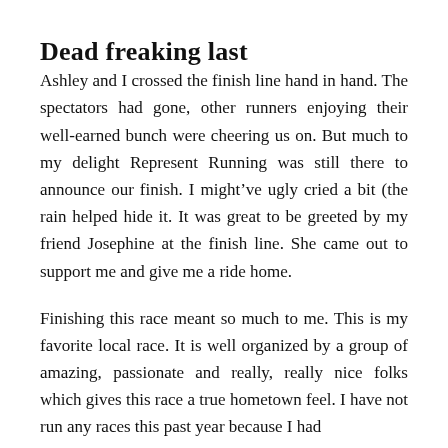Dead freaking last
Ashley and I crossed the finish line hand in hand. The spectators had gone, other runners enjoying their well-earned bunch were cheering us on. But much to my delight Represent Running was still there to announce our finish. I might’ve ugly cried a bit (the rain helped hide it. It was great to be greeted by my friend Josephine at the finish line. She came out to support me and give me a ride home.
Finishing this race meant so much to me. This is my favorite local race. It is well organized by a group of amazing, passionate and really, really nice folks which gives this race a true hometown feel. I have not run any races this past year because I had